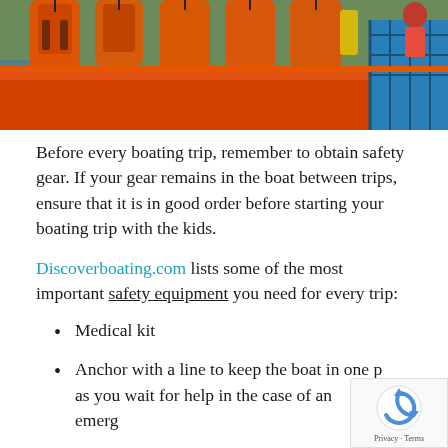[Figure (photo): Photo of orange life jackets/vests hanging on a blue rack near water, with trees and water visible in the background.]
Before every boating trip, remember to obtain safety gear. If your gear remains in the boat between trips, ensure that it is in good order before starting your boating trip with the kids.
Discoverboating.com lists some of the most important safety equipment you need for every trip:
Medical kit
Anchor with a line to keep the boat in one place as you wait for help in the case of an emergency
A bucket or bailing device to dewater and keep